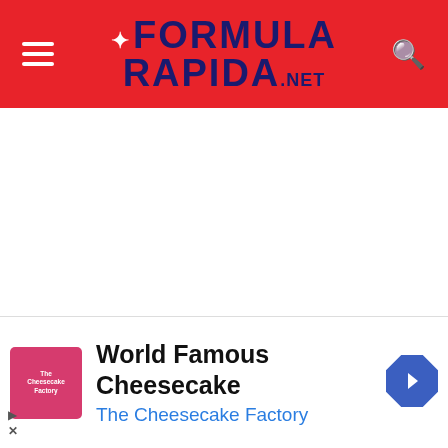Formula Rapida .net
Lewis Hamilton, Joan Mir and Mercedes are the representatives from motor racing – F1 and
[Figure (infographic): Advertisement banner for The Cheesecake Factory showing logo image, 'World Famous Cheesecake' headline, 'The Cheesecake Factory' subtext, and a navigation arrow icon]